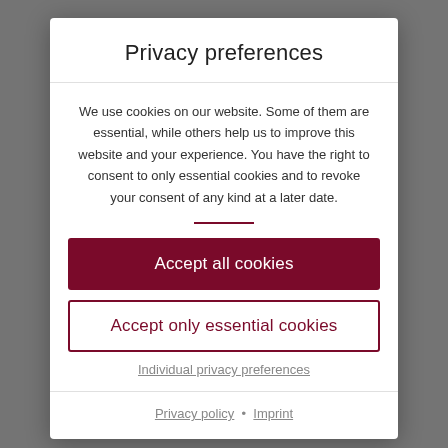Privacy preferences
We use cookies on our website. Some of them are essential, while others help us to improve this website and your experience. You have the right to consent to only essential cookies and to revoke your consent of any kind at a later date.
Accept all cookies
Accept only essential cookies
Individual privacy preferences
Privacy policy · Imprint